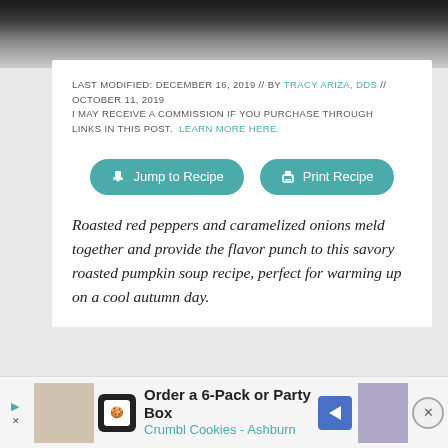[Figure (photo): Top portion of a bowl or dish, partially visible, dark background with gray/white tones]
LAST MODIFIED: DECEMBER 16, 2019 // BY TRACY ARIZA, DDS // OCTOBER 11, 2019
I MAY RECEIVE A COMMISSION IF YOU PURCHASE THROUGH LINKS IN THIS POST.  LEARN MORE HERE.
[Figure (other): Two teal rounded buttons: 'Jump to Recipe' with a download arrow icon, and 'Print Recipe' with a printer icon]
Roasted red peppers and caramelized onions meld together and provide the flavor punch to this savory roasted pumpkin soup recipe, perfect for warming up on a cool autumn day.
[Figure (other): Advertisement bar at bottom: Order a 6-Pack or Party Box, Crumbl Cookies - Ashburn]